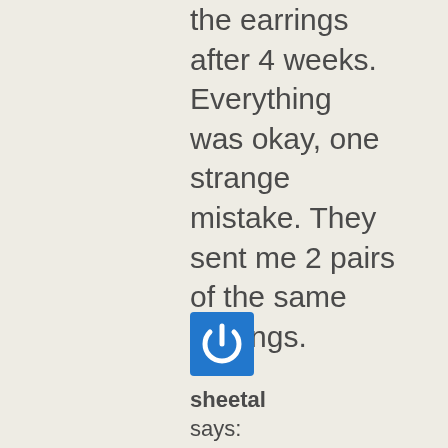the earrings after 4 weeks. Everything was okay, one strange mistake. They sent me 2 pairs of the same earrings.
[Figure (logo): Blue square icon with white power button symbol]
sheetal says:
cheap prices and free delivery without a tracking